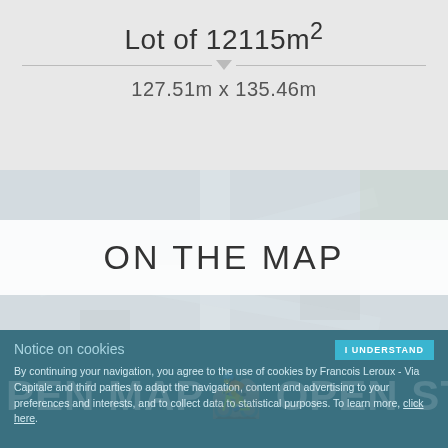Lot of 12115m²
127.51m x 135.46m
[Figure (map): Blurred street map showing location with ON THE MAP overlay banner]
Notice on cookies
By continuing your navigation, you agree to the use of cookies by Francois Leroux - Via Capitale and third parties to adapt the navigation, content and advertising to your preferences and interests, and to collect data to statistical purposes. To learn more, click here.